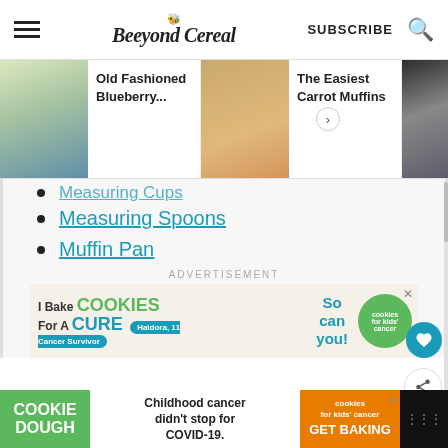Beeyond Cereal | SUBSCRIBE
[Figure (screenshot): Website navigation carousel showing muffin recipe thumbnails: Old Fashioned Blueberry..., The Easiest Carrot Muffins, Blueberry Buttermilk Muffins]
Measuring Cups (partially visible)
Measuring Spoons
Muffin Pan
[Figure (infographic): Advertisement: I Bake COOKIES For A CURE - Haidora, 11 Cancer Survivor - So can you! - cookies for kids cancer logo]
[Figure (infographic): Bottom advertisement: COOKIE DOUGH - Childhood cancer didn't stop for COVID-19. - cookies for kids cancer - GET BAKING]